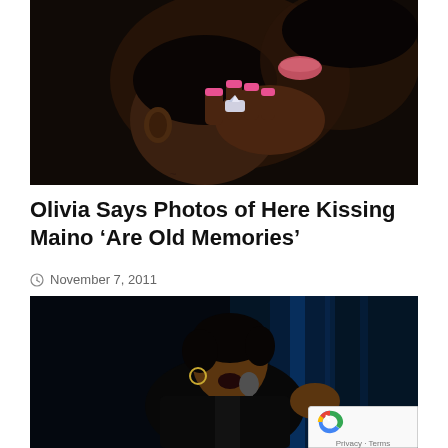[Figure (photo): Close-up photo of two people, one kissing the other on the head, a hand with pink nails and a diamond ring visible, dark background]
Olivia Says Photos of Here Kissing Maino ‘Are Old Memories’
November 7, 2011
[Figure (photo): Photo of a woman with short dark hair singing into a microphone on stage, wearing a black leather jacket, blue-lit background, with a reCAPTCHA badge overlay in the bottom right corner]